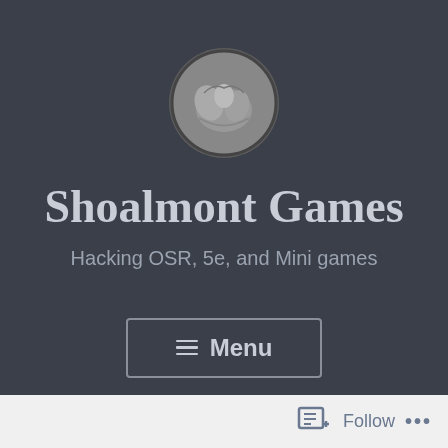[Figure (illustration): Circular avatar image with a dark border showing an old-style illustration of a figure, used as website logo for Shoalmont Games]
Shoalmont Games
Hacking OSR, 5e, and Mini games
≡ Menu
Follow ...